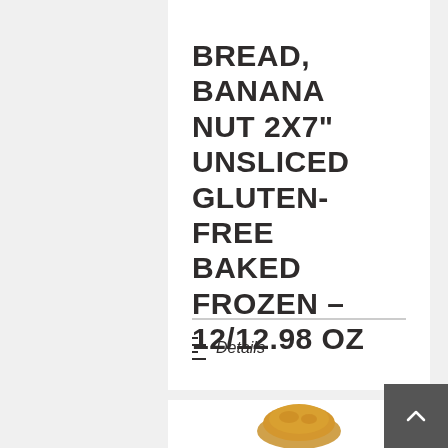BREAD, BANANA NUT 2X7" UNSLICED GLUTEN-FREE BAKED FROZEN – 12/12.98 OZ
Details
[Figure (photo): Partial view of a banana nut bread or baked good at the bottom of the page]